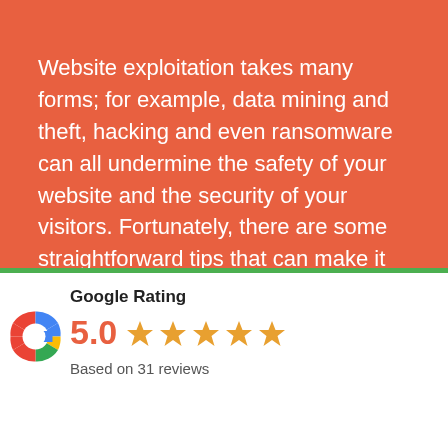Website exploitation takes many forms; for example, data mining and theft, hacking and even ransomware can all undermine the safety of your website and the security of your visitors. Fortunately, there are some straightforward tips that can make it more difficult for malicious individuals to exploit your hard work.
USE RESPECTED WEB DESIGN AGENCY IN WASHINGTON
[Figure (other): Google Rating widget: Google G logo, score 5.0, five orange stars, 'Based on 31 reviews', with a green top border on a white card. More info link and OK button visible.]